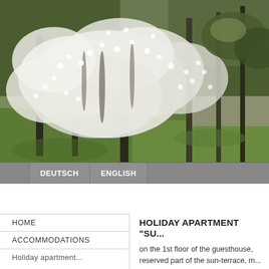[Figure (photo): Outdoor landscape photo showing blossoming white cherry/plum trees in the foreground with lush green grass and road/trees in the background. Spring scene.]
DEUTSCH | ENGLISH
HOME
ACCOMMODATIONS
Holiday apartment...
HOLIDAY APARTMENT "SU..."
on the 1st floor of the guesthouse, reserved part of the sun-terrace, m...